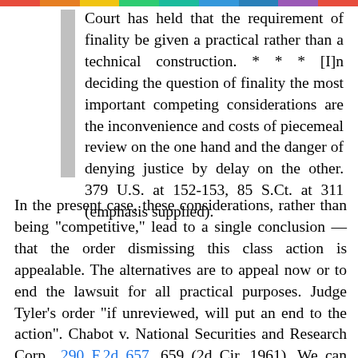Court has held that the requirement of finality be given a practical rather than a technical construction. * * * [I]n deciding the question of finality the most important competing considerations are the inconvenience and costs of piecemeal review on the one hand and the danger of denying justice by delay on the other. 379 U.S. at 152-153, 85 S.Ct. at 311 (emphasis supplied).
In the present case, these considerations, rather than being "competitive," lead to a single conclusion — that the order dismissing this class action is appealable. The alternatives are to appeal now or to end the lawsuit for all practical purposes. Judge Tyler's order "if unreviewed, will put an end to the action". Chabot v. National Securities and Research Corp., 290 F.2d 657, 659 (2d Cir. 1961). We can safely assume that no lawyer of competence is going to undertake this complex and costly case to recover $70 for Mr. Eisen. See